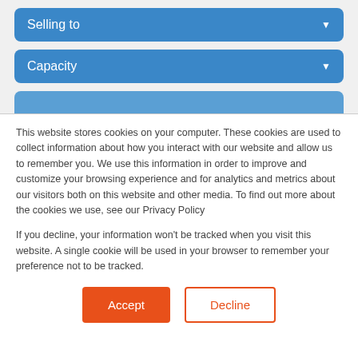[Figure (screenshot): Dropdown UI element labeled 'Selling to' with blue background and white arrow]
[Figure (screenshot): Dropdown UI element labeled 'Capacity' with blue background and white arrow]
[Figure (screenshot): Partially visible blue dropdown UI element]
This website stores cookies on your computer. These cookies are used to collect information about how you interact with our website and allow us to remember you. We use this information in order to improve and customize your browsing experience and for analytics and metrics about our visitors both on this website and other media. To find out more about the cookies we use, see our Privacy Policy
If you decline, your information won't be tracked when you visit this website. A single cookie will be used in your browser to remember your preference not to be tracked.
[Figure (screenshot): Accept button (orange filled) and Decline button (orange outline) for cookie consent]